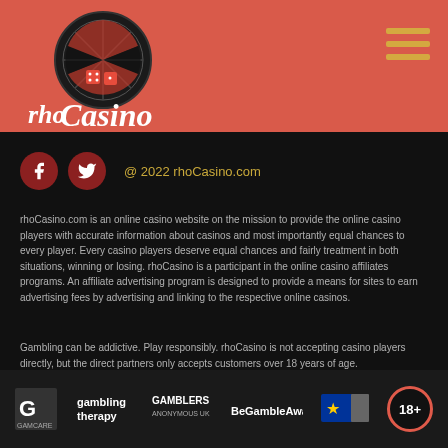[Figure (logo): rhoCasino.com logo with roulette wheel and casino imagery on red header background]
@ 2022 rhoCasino.com
rhoCasino.com is an online casino website on the mission to provide the online casino players with accurate information about casinos and most importantly equal chances to every player. Every casino players deserve equal chances and fairly treatment in both situations, winning or losing. rhoCasino is a participant in the online casino affiliates programs. An affiliate advertising program is designed to provide a means for sites to earn advertising fees by advertising and linking to the respective online casinos.
Gambling can be addictive. Play responsibly. rhoCasino is not accepting casino players directly, but the direct partners only accepts customers over 18 years of age.
[Figure (logo): Footer trust logos: GamCare, Gambling Therapy, Gamblers Anonymous UK, BeGambleAware, EU flag, 18+ badge]